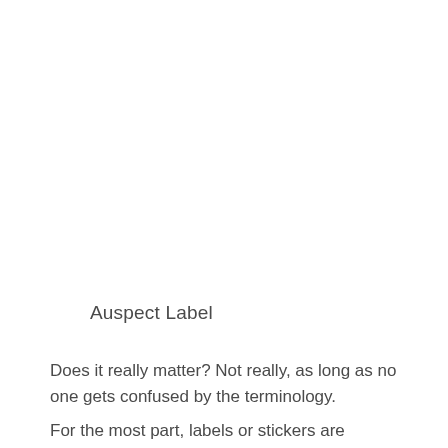Auspect Label
Does it really matter? Not really, as long as no one gets confused by the terminology.
For the most part, labels or stickers are